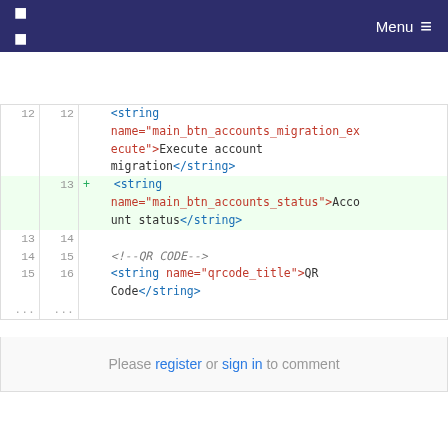Menu
[Figure (screenshot): Code diff viewer showing XML string resource additions. Lines 12-16 shown with old/new line numbers. Line 13 (added, highlighted green) adds a string element with name='main_btn_accounts_status'>Account status</string>. Other lines show migration string and QR code strings.]
Please register or sign in to comment